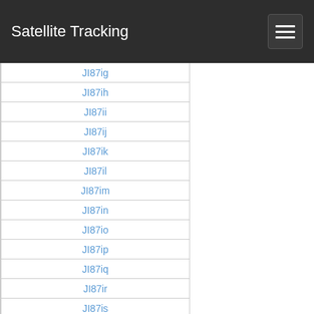Satellite Tracking
JI87ig
JI87ih
JI87ii
JI87ij
JI87ik
JI87il
JI87im
JI87in
JI87io
JI87ip
JI87iq
JI87ir
JI87is
JI87it
JI87iu
JI87iv
JI87iw